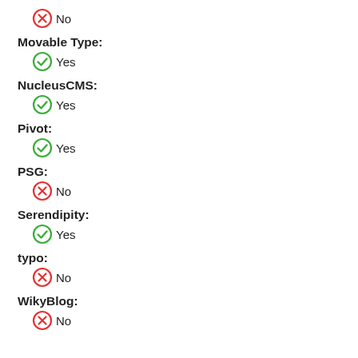No
Movable Type:
Yes
NucleusCMS:
Yes
Pivot:
Yes
PSG:
No
Serendipity:
Yes
typo:
No
WikyBlog:
No